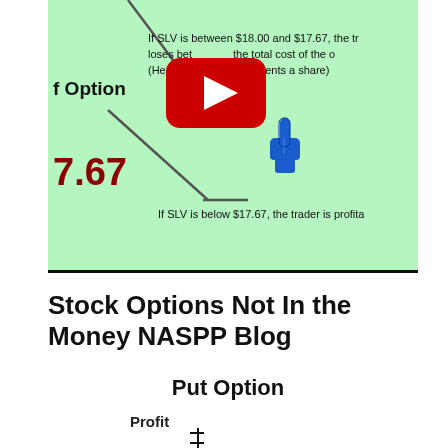[Figure (screenshot): Screenshot of a YouTube video thumbnail showing a stock options educational diagram on a green background. Text reads: 'If SLV is between $18.00 and $17.67, the tr... loses bet... the total cost of the o... (He loses ... and 33 cents a share)' and 'If SLV is below $17.67, the trader is profita...' with 'f Option' label, '7.67' price in dark red, a blue pointing hand icon, diagonal lines, and a YouTube play button overlay.]
Stock Options Not In the Money NASPP Blog
Put Option
Profit